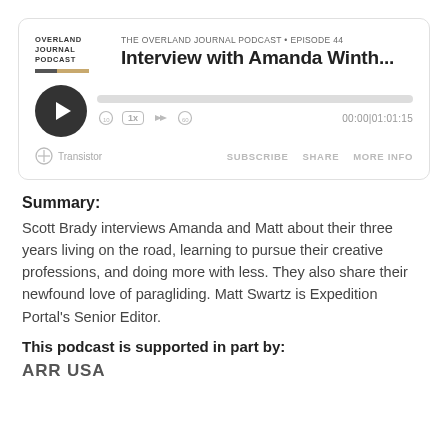[Figure (screenshot): Podcast player card for The Overland Journal Podcast Episode 44: Interview with Amanda Winth... showing play button, progress bar, playback controls, time 00:00|01:01:15, Transistor branding, Subscribe/Share/More Info buttons]
Summary:
Scott Brady interviews Amanda and Matt about their three years living on the road, learning to pursue their creative professions, and doing more with less. They also share their newfound love of paragliding. Matt Swartz is Expedition Portal’s Senior Editor.
This podcast is supported in part by:
ARR USA